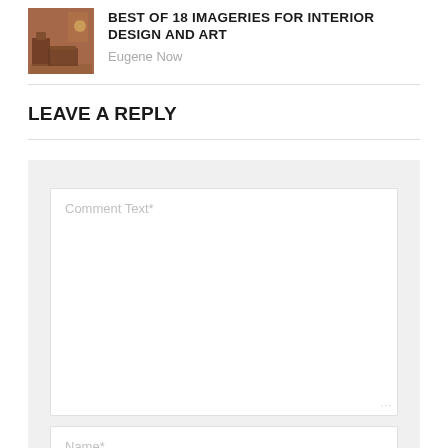[Figure (photo): Thumbnail image of an interior room with antique furniture, warm brownish tones]
BEST OF 18 IMAGERIES FOR INTERIOR DESIGN AND ART
Eugene Now
LEAVE A REPLY
Comment Text*
Name*